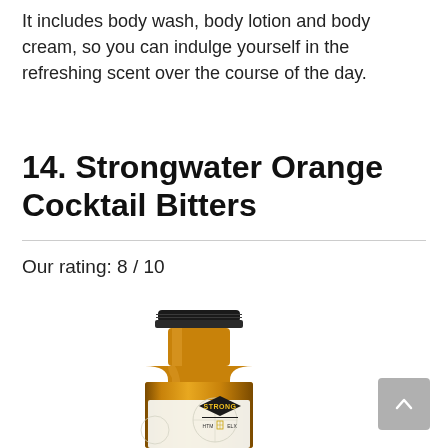It includes body wash, body lotion and body cream, so you can indulge yourself in the refreshing scent over the course of the day.
14. Strongwater Orange Cocktail Bitters
Our rating: 8 / 10
[Figure (photo): A close-up photo of a Strongwater Orange Cocktail Bitters bottle with a black cap and label, filled with amber-colored liquid. The label shows 'STRONG' in diamond shape with 'HTM ELX' text.]